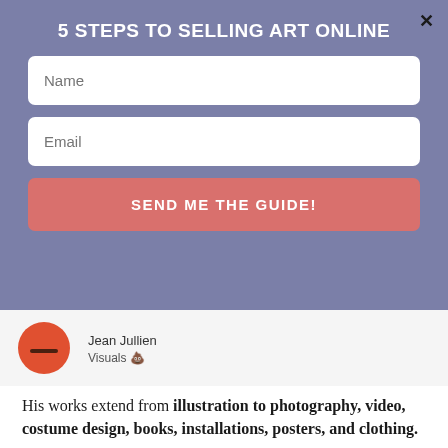5 STEPS TO SELLING ART ONLINE
[Figure (screenshot): Modal popup with Name field, Email field, and a pink SEND ME THE GUIDE! button on a muted purple background]
[Figure (illustration): Partial profile card showing orange circular avatar with dark smile line, name Jean Jullien, and subtitle Visuals with poop emoji]
His works extend from illustration to photography, video, costume design, books, installations, posters, and clothing.
He has worked with famous brands and huge clients such as Hermes, Vogue, The New York Times, The